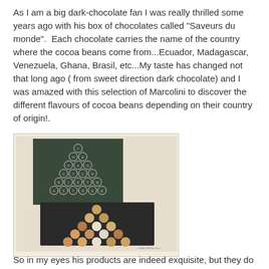As I am a big dark-chocolate fan I was really thrilled some years ago with his box of chocolates called "Saveurs du monde".  Each chocolate carries the name of the country where the cocoa beans come from...Ecuador, Madagascar, Venezuela, Ghana, Brasil, etc...My taste has changed not that long ago ( from sweet direction dark chocolate) and I was amazed with this selection of Marcolini to discover the different flavours of cocoa beans depending on their country of origin!.
[Figure (photo): A box of Marcolini chocolates arranged in a triangle/Christmas tree shape. The chocolate spheres are golden, bronze, pink and white in color, placed in a dark tray. Behind the tray is a dark green box with text arranged in a triangular Christmas tree pattern reading 'THE FANTASTIC CHRISTMAS TREE'.]
So in my eyes his products are indeed exquisite, but they do take you to a new chocolate world, a cocoa-world of amazing